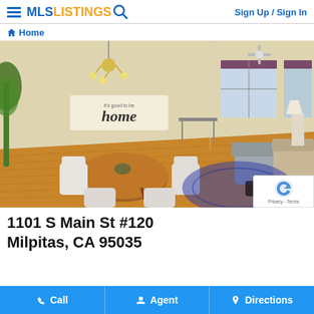MLS LISTINGS   Sign Up / Sign In
Home
[Figure (photo): Interior photo of a living/dining room with hardwood floors, round dining table with white chairs, pendant chandelier, ceiling fan, large windows with purple blinds, blue patterned rug, and decorative 'home' sign on the wall. Image counter shows 1/1.]
1101 S Main St #120
Milpitas, CA 95035
Call   Agent   Directions